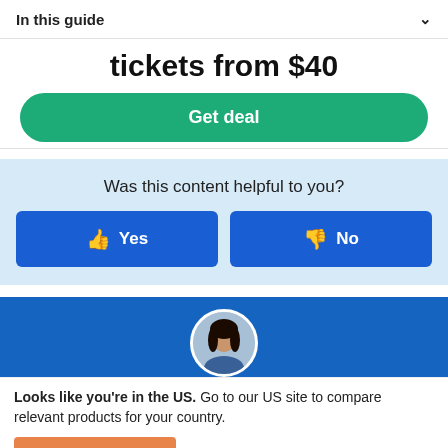In this guide
tickets from $40
Get deal
Was this content helpful to you?
Yes
No
[Figure (photo): Blue banner with circular avatar photo of a person with dark hair]
Looks like you're in the US. Go to our US site to compare relevant products for your country.
Go to Finder US
No, stay on this page